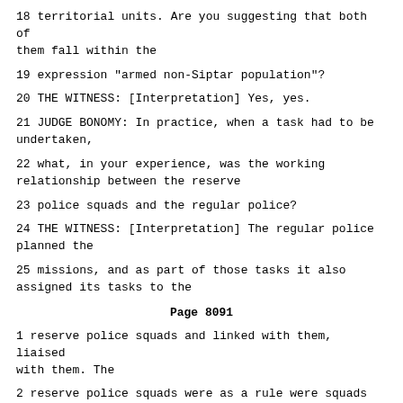18 territorial units. Are you suggesting that both of them fall within the
19 expression "armed non-Siptar population"?
20 THE WITNESS: [Interpretation] Yes, yes.
21 JUDGE BONOMY: In practice, when a task had to be undertaken,
22 what, in your experience, was the working relationship between the reserve
23 police squads and the regular police?
24 THE WITNESS: [Interpretation] The regular police planned the
25 missions, and as part of those tasks it also assigned its tasks to the
Page 8091
1 reserve police squads and linked with them, liaised with them. The
2 reserve police squads were as a rule were squads tasked with a defence of
3 inhabited places, but in the zone of combat operations where there